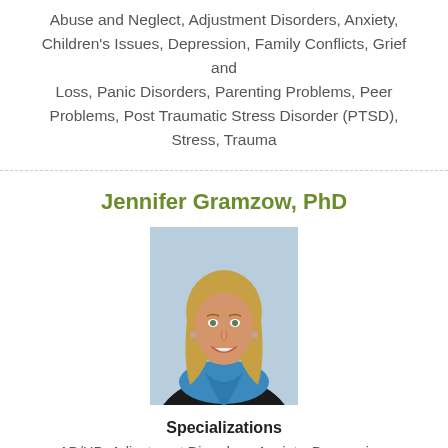Abuse and Neglect, Adjustment Disorders, Anxiety, Children's Issues, Depression, Family Conflicts, Grief and Loss, Panic Disorders, Parenting Problems, Peer Problems, Post Traumatic Stress Disorder (PTSD), Stress, Trauma
Jennifer Gramzow, PhD
[Figure (photo): Professional headshot of Jennifer Gramzow, a woman with long blonde hair wearing a black jacket and blue scarf, smiling, against a light blue background.]
Specializations
AD/HD, Adjustment Disorders, Anxiety, Depression, Family Conflicts, Grief, Loss, Mourning, Mood Disorders,